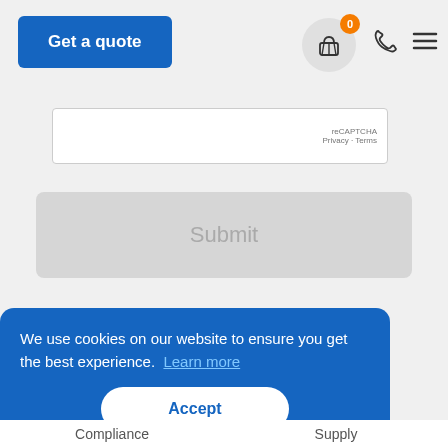Get a quote
[Figure (screenshot): reCAPTCHA widget partial showing 'RECAPTCHA' branding and 'Privacy - Terms' link]
[Figure (other): Greyed-out Submit button]
We use cookies on our website to ensure you get the best experience. Learn more
Accept
Compliance   Supply